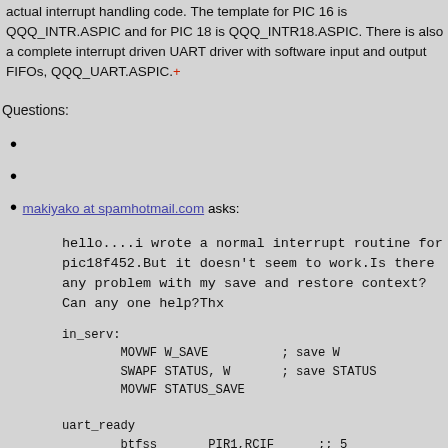actual interrupt handling code. The template for PIC 16 is QQQ_INTR.ASPIC and for PIC 18 is QQQ_INTR18.ASPIC. There is also a complete interrupt driven UART driver with software input and output FIFOs, QQQ_UART.ASPIC.+
Questions:
makiyako at spamhotmail.com asks:
hello....i wrote a normal interrupt routine for pic18f452.But it doesn't seem to work.Is there any problem with my save and restore context?Can any one help?Thx
in_serv:
        MOVWF W_SAVE          ; save W
        SWAPF STATUS, W       ; save STATUS
        MOVWF STATUS_SAVE

uart_ready
        btfss       PIR1,RCIF      ;; 5
        goto             Main           ;if
            movf RCREG,W              ;rec
            bsf LATB,3               ;lig
            movwf    rx_data          ;sav
            bsf          INTCON,7    ;re